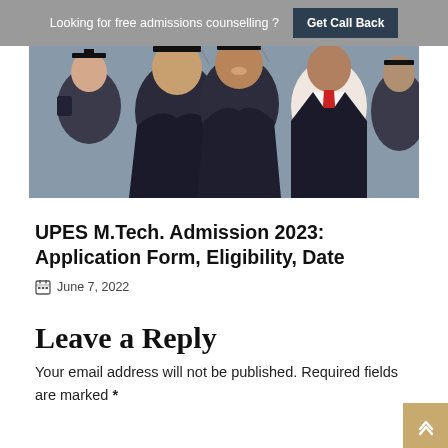Looking for free admissions counselling ? Get Call Back
[Figure (photo): Group of university graduates wearing black graduation gowns and caps, smiling, with one person in a red tie visible on the right.]
UPES M.Tech. Admission 2023: Application Form, Eligibility, Date
June 7, 2022
Leave a Reply
Your email address will not be published. Required fields are marked *